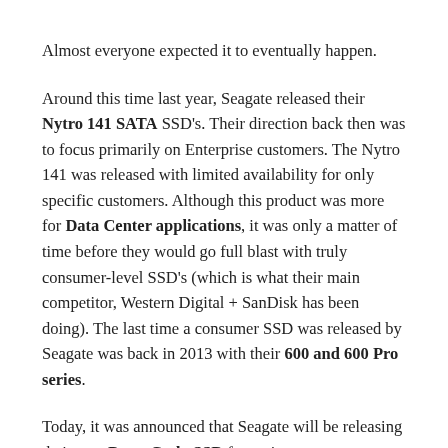Almost everyone expected it to eventually happen.
Around this time last year, Seagate released their Nytro 141 SATA SSD's. Their direction back then was to focus primarily on Enterprise customers. The Nytro 141 was released with limited availability for only specific customers. Although this product was more for Data Center applications, it was only a matter of time before they would go full blast with truly consumer-level SSD's (which is what their main competitor, Western Digital + SanDisk has been doing). The last time a consumer SSD was released by Seagate was back in 2013 with their 600 and 600 Pro series.
Today, it was announced that Seagate will be releasing their new BarraCuda SSD for mainstream consumers – a departure from their previous directions to push mainly HDD and SSHD solutions.